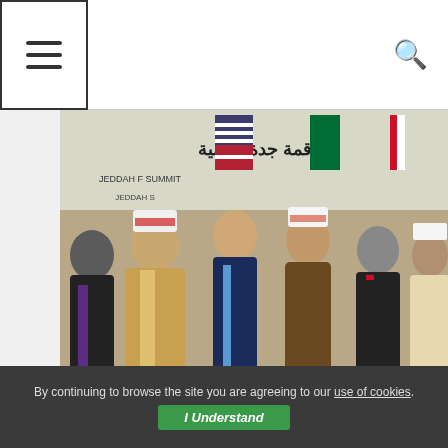Menu and Search navigation bar
[Figure (photo): Group photo of world leaders including US President Biden and Middle Eastern heads of state at the Jeddah Development Summit, standing in front of banners with Arabic text and flags.]
Opinion
Top Stories
OPINION: After Middle East tour, how will Biden handle political Islamists?
August 3, 2022   Millichronicle
by Dalia Ziada The American president's decision to go back to
By continuing to browse the site you are agreeing to our use of cookies.
I Understand